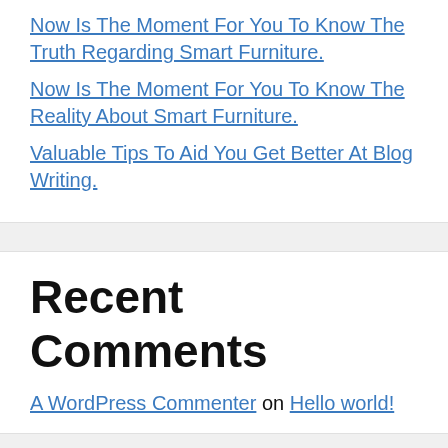Now Is The Moment For You To Know The Truth Regarding Smart Furniture.
Now Is The Moment For You To Know The Reality About Smart Furniture.
Valuable Tips To Aid You Get Better At Blog Writing.
Recent Comments
A WordPress Commenter on Hello world!
© 2022 the bina • Built with GeneratePress